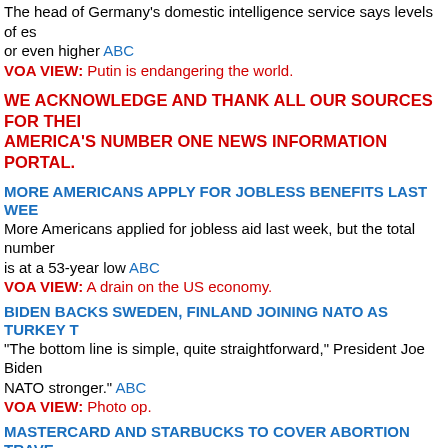The head of Germany's domestic intelligence service says levels of es or even higher ABC
VOA VIEW: Putin is endangering the world.
WE ACKNOWLEDGE AND THANK ALL OUR SOURCES FOR THEI AMERICA'S NUMBER ONE NEWS INFORMATION PORTAL.
MORE AMERICANS APPLY FOR JOBLESS BENEFITS LAST WEE
More Americans applied for jobless aid last week, but the total number is at a 53-year low ABC
VOA VIEW: A drain on the US economy.
BIDEN BACKS SWEDEN, FINLAND JOINING NATO AS TURKEY T
"The bottom line is simple, quite straightforward," President Joe Biden NATO stronger." ABC
VOA VIEW: Photo op.
MASTERCARD AND STARBUCKS TO COVER ABORTION TRAVE
Financial services firms and coffee chain latest to add coverage before CBS
VOA VIEW: As they wish.
WITH THE END OF ROE POSSIBLE, ANTI-ABORTION RIGHTS GR
The anti-abortion rights movement is preparing to shift the fight from d